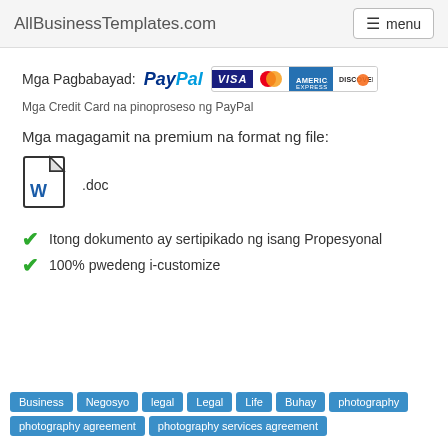AllBusinessTemplates.com  menu
[Figure (logo): Payment methods row: PayPal logo, Visa, MasterCard, American Express, Discover cards]
Mga Pagbabayad:
Mga Credit Card na pinoproseso ng PayPal
Mga magagamit na premium na format ng file:
[Figure (illustration): Word document icon (.doc)]
Itong dokumento ay sertipikado ng isang Propesyonal
100% pwedeng i-customize
Business  Negosyo  legal  Legal  Life  Buhay  photography  photography agreement  photography services agreement